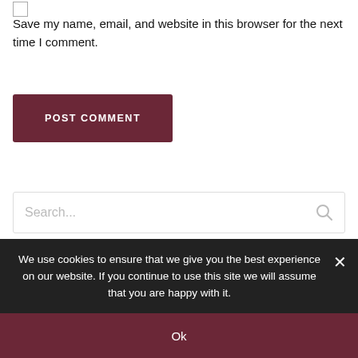Save my name, email, and website in this browser for the next time I comment.
POST COMMENT
Search...
Categories
We use cookies to ensure that we give you the best experience on our website. If you continue to use this site we will assume that you are happy with it.
Ok